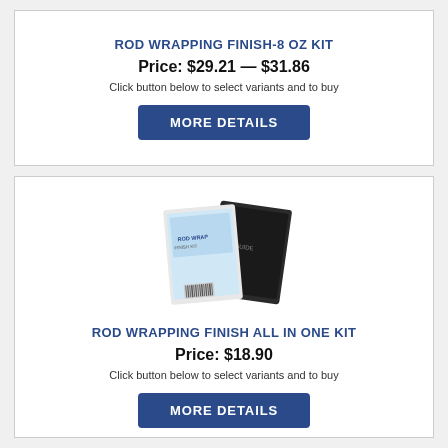ROD WRAPPING FINISH-8 OZ KIT
Price: $29.21 — $31.86
Click button below to select variants and to buy
[Figure (screenshot): MORE DETAILS button]
[Figure (photo): Product image of Rod Wrapping Finish All In One Kit showing two booklet/pamphlet style packages]
ROD WRAPPING FINISH ALL IN ONE KIT
Price: $18.90
Click button below to select variants and to buy
[Figure (screenshot): MORE DETAILS button]